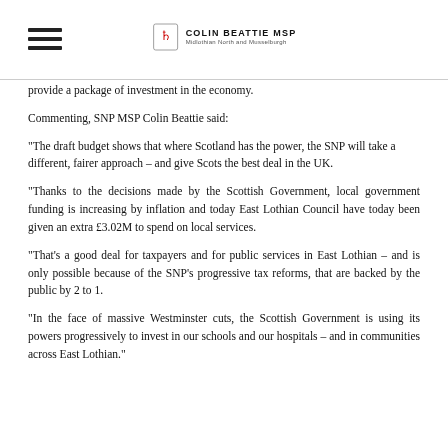Colin Beattie MSP – Midlothian North and Musselburgh
provide a package of investment in the economy.
Commenting, SNP MSP Colin Beattie said:
“The draft budget shows that where Scotland has the power, the SNP will take a different, fairer approach – and give Scots the best deal in the UK.
“Thanks to the decisions made by the Scottish Government, local government funding is increasing by inflation and today East Lothian Council have today been given an extra £3.02M to spend on local services.
“That's a good deal for taxpayers and for public services in East Lothian – and is only possible because of the SNP’s progressive tax reforms, that are backed by the public by 2 to 1.
“In the face of massive Westminster cuts, the Scottish Government is using its powers progressively to invest in our schools and our hospitals – and in communities across East Lothian.”